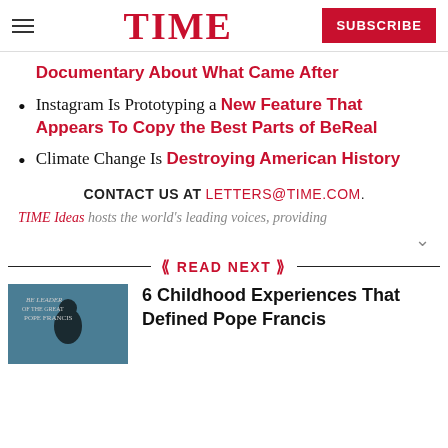TIME | SUBSCRIBE
Documentary About What Came After
Instagram Is Prototyping a New Feature That Appears To Copy the Best Parts of BeReal
Climate Change Is Destroying American History
CONTACT US AT LETTERS@TIME.COM.
TIME Ideas hosts the world's leading voices, providing
READ NEXT
6 Childhood Experiences That Defined Pope Francis